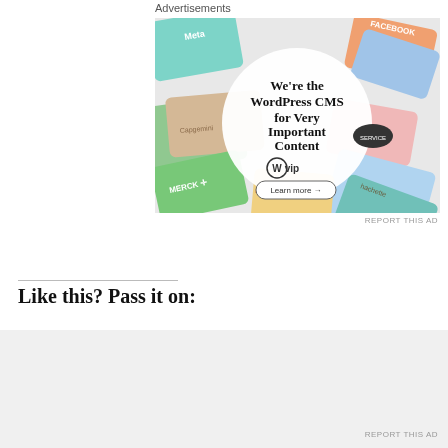Advertisements
[Figure (illustration): WordPress VIP advertisement showing various brand logos (Meta, Facebook, Capgemini, Merck, Hachette) arranged as cards around a central circle with text: We're the WordPress CMS for Very Important Content, WP VIP logo, and Learn more button]
REPORT THIS AD
Like this? Pass it on:
Advertisements
REPORT THIS AD